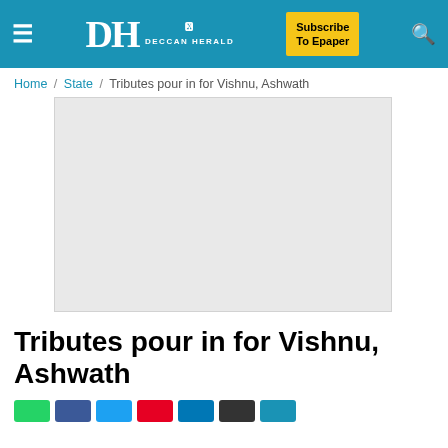Deccan Herald — Subscribe To Epaper
Home / State / Tributes pour in for Vishnu, Ashwath
[Figure (photo): Image placeholder (advertisement or photo, content not visible)]
Tributes pour in for Vishnu, Ashwath